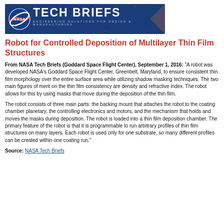[Figure (logo): NASA Tech Briefs logo banner — dark blue background with NASA meatball logo on left, 'TECH BRIEFS' in large white bold uppercase letters, subtitle 'ENGINEERING SOLUTIONS FOR DESIGN & MANUFACTURING' in small light blue letters]
Robot for Controlled Deposition of Multilayer Thin Film Structures
From NASA Tech Briefs (Goddard Space Flight Center), September 1, 2016: "A robot was developed NASA's Goddard Space Flight Center, Greenbelt, Maryland, to ensure consistent thin film morphology over the entire surface area while utilizing shadow masking techniques. The two main figures of merit on the thin film consistency are density and refractive index. The robot allows for this by using masks that move during the deposition of the thin film.
The robot consists of three main parts: the backing mount that attaches the robot to the coating chamber planetary, the controlling electronics and motors, and the mechanism that holds and moves the masks during deposition. The robot is loaded into a thin film deposition chamber. The primary feature of the robot is that it is programmable to run arbitrary profiles of thin film structures on many layers. Each robot is used only for one substrate, so many different profiles can be created within one coating run."
Source: NASA Tech Briefs